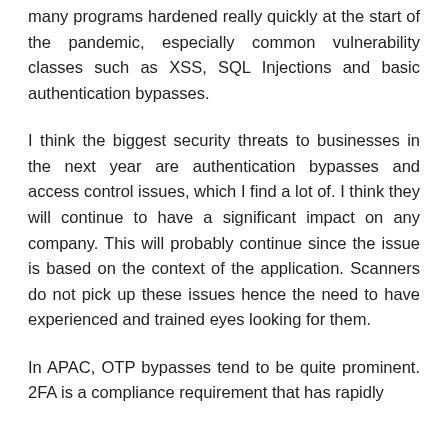many programs hardened really quickly at the start of the pandemic, especially common vulnerability classes such as XSS, SQL Injections and basic authentication bypasses.
I think the biggest security threats to businesses in the next year are authentication bypasses and access control issues, which I find a lot of. I think they will continue to have a significant impact on any company. This will probably continue since the issue is based on the context of the application. Scanners do not pick up these issues hence the need to have experienced and trained eyes looking for them.
In APAC, OTP bypasses tend to be quite prominent. 2FA is a compliance requirement that has rapidly